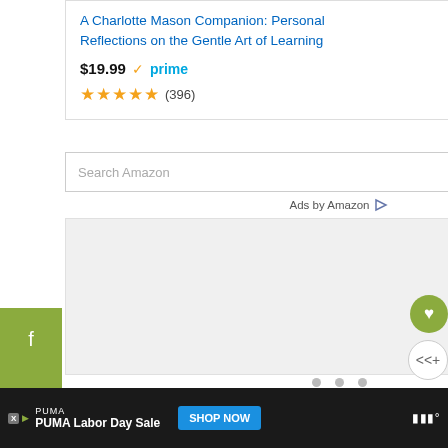A Charlotte Mason Companion: Personal Reflections on the Gentle Art of Learning
$19.99 ✓prime
★★★★★ (396)
[Figure (screenshot): Search Amazon input box with Go button]
Ads by Amazon
[Figure (screenshot): White/grey ad content area]
[Figure (screenshot): Social share sidebar with Facebook, Twitter, Pinterest buttons in olive green]
[Figure (screenshot): Floating heart and share buttons on right edge]
[Figure (screenshot): What's Next panel: 10+ Practical Homeschool...]
[Figure (screenshot): Bottom ad banner: PUMA Labor Day Sale with SHOP NOW button]